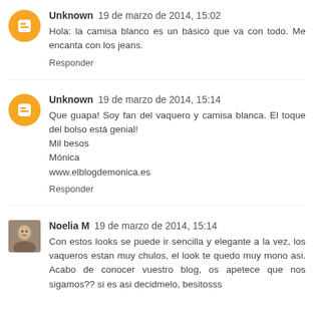Unknown  19 de marzo de 2014, 15:02
Hola: la camisa blanco es un básico que va con todo. Me encanta con los jeans.
Responder
Unknown  19 de marzo de 2014, 15:14
Que guapa! Soy fan del vaquero y camisa blanca. El toque del bolso está genial!
Mil besos
Mónica
www.elblogdemonica.es
Responder
Noelia M  19 de marzo de 2014, 15:14
Con estos looks se puede ir sencilla y elegante a la vez, los vaqueros estan muy chulos, el look te quedo muy mono asi. Acabo de conocer vuestro blog, os apetece que nos sigamos?? si es asi decidmelo, besitosss